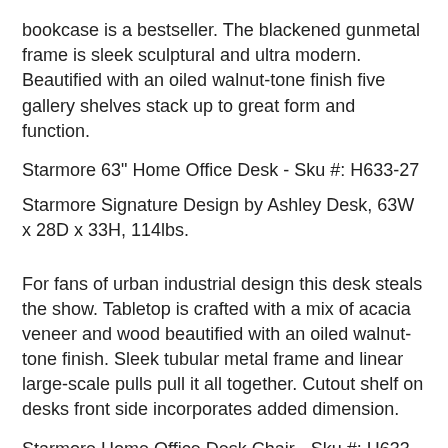bookcase is a bestseller. The blackened gunmetal frame is sleek sculptural and ultra modern. Beautified with an oiled walnut-tone finish five gallery shelves stack up to great form and function.
Starmore 63" Home Office Desk - Sku #: H633-27
Starmore Signature Design by Ashley Desk, 63W x 28D x 33H, 114lbs.
For fans of urban industrial design this desk steals the show. Tabletop is crafted with a mix of acacia veneer and wood beautified with an oiled walnut-tone finish. Sleek tubular metal frame and linear large-scale pulls pull it all together. Cutout shelf on desks front side incorporates added dimension.
Starmore Home Office Desk Chair - Sku #: H633-02A